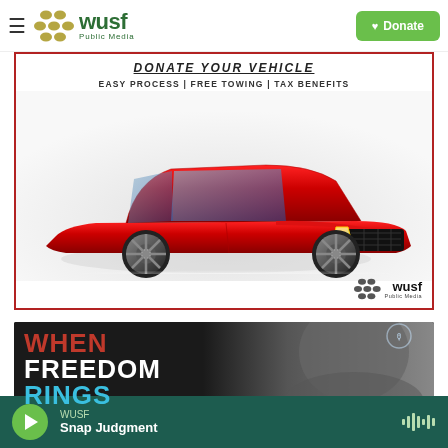WUSF Public Media — Donate
[Figure (illustration): WUSF vehicle donation advertisement with red sports car. Text: DONATE YOUR VEHICLE, EASY PROCESS | FREE TOWING | TAX BENEFITS. WUSF Public Media logo at bottom right.]
[Figure (illustration): WHEN FREEDOM RINGS show promotional card with dark background and person's face]
WUSF — Snap Judgment (audio player bar)